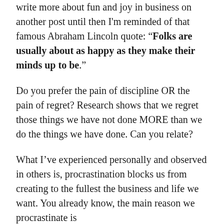write more about fun and joy in business on another post until then I'm reminded of that famous Abraham Lincoln quote: “Folks are usually about as happy as they make their minds up to be.”
Do you prefer the pain of discipline OR the pain of regret? Research shows that we regret those things we have not done MORE than we do the things we have done. Can you relate?
What I’ve experienced personally and observed in others is, procrastination blocks us from creating to the fullest the business and life we want. You already know, the main reason we procrastinate is